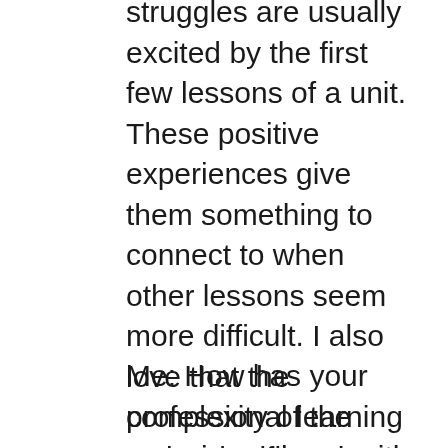struggles are usually excited by the first few lessons of a unit. These positive experiences give them something to connect to when other lessons seem more difficult. I also love that the complexity of the tasks significantly increases by the end of the unit. This gives appropriate challenge to those students who need it. I think that Illustrative would have the best outcomes in a fully de-tracked environment. My classes that have the greatest spread of abilities are the ones that I see getting the most benefit from the course.
Me: How has your professional learning experience been with San Diego Enhanced Mathematics and ConnectED?